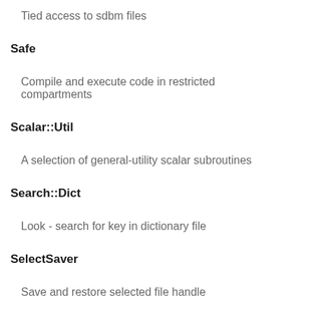Tied access to sdbm files
Safe
Compile and execute code in restricted compartments
Scalar::Util
A selection of general-utility scalar subroutines
Search::Dict
Look - search for key in dictionary file
SelectSaver
Save and restore selected file handle
SelfLoader
Load functions only on demand
Storable